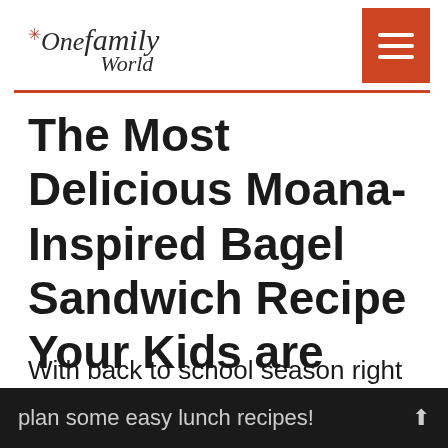One Family World
The Most Delicious Moana-Inspired Bagel Sandwich Recipe Your Kids are Craving
With back to school season right around the corner, it's time to plan some easy lunch recipes!